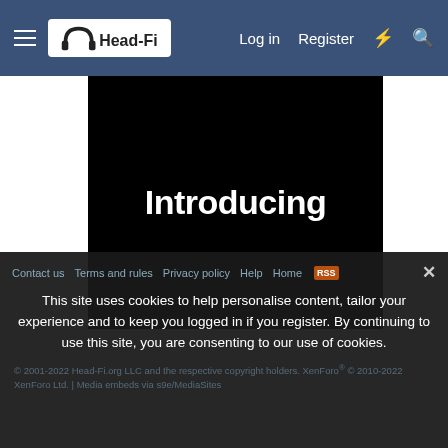Head-Fi | Log in | Register
[Figure (screenshot): Black video frame with the word 'Introducing' in large bold white text centered on screen]
Contact us | Terms and rules | Privacy policy | Help | Home
This site uses cookies to help personalise content, tailor your experience and to keep you logged in if you register. By continuing to use this site, you are consenting to our use of cookies.
© 2001-2022 Head-Fi.org LLC and the respective copyright holders. XenForo® © 2010-2022 XenForo Ltd. | Media embeds via s9e/MediaSites